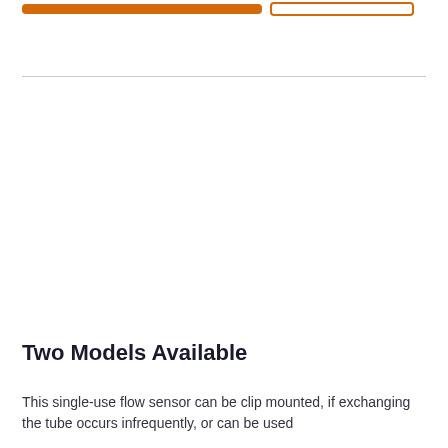[navigation buttons]
[Figure (other): Large white empty space area below a horizontal divider line, representing a product image placeholder area.]
Two Models Available
This single-use flow sensor can be clip mounted, if exchanging the tube occurs infrequently, or can be used